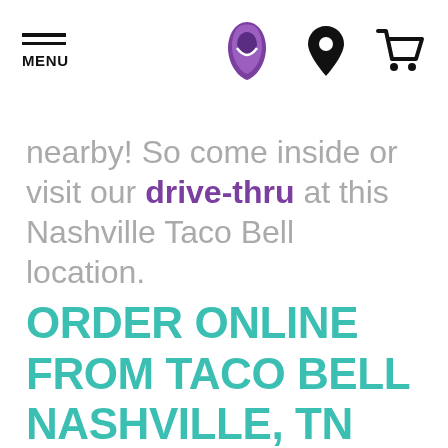[Figure (logo): Taco Bell navigation header with hamburger menu icon labeled MENU, Taco Bell bell logo in purple, location pin icon, and shopping cart icon]
nearby! So come inside or visit our drive-thru at this Nashville Taco Bell location.
ORDER ONLINE FROM TACO BELL NASHVILLE, TN